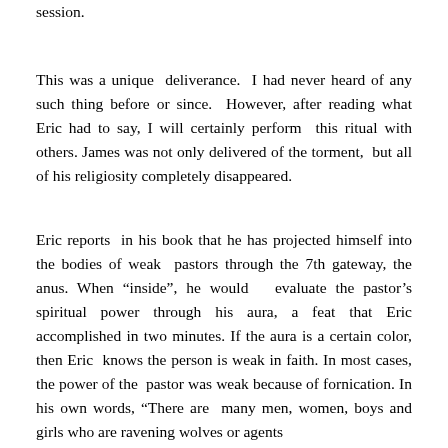session.
This was a unique deliverance. I had never heard of any such thing before or since. However, after reading what Eric had to say, I will certainly perform this ritual with others. James was not only delivered of the torment, but all of his religiosity completely disappeared.
Eric reports in his book that he has projected himself into the bodies of weak pastors through the 7th gateway, the anus. When “inside”, he would evaluate the pastor’s spiritual power through his aura, a feat that Eric accomplished in two minutes. If the aura is a certain color, then Eric knows the person is weak in faith. In most cases, the power of the pastor was weak because of fornication. In his own words, “There are many men, women, boys and girls who are ravening wolves or agents